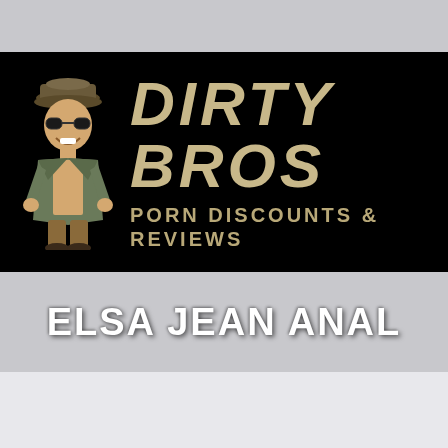[Figure (logo): Dirty Bros logo banner on black background with cartoon mascot character wearing hat and sunglasses, with text DIRTY BROS PORN DISCOUNTS & REVIEWS in distressed font]
ELSA JEAN ANAL